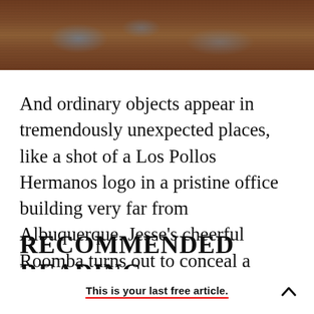[Figure (photo): Partial photograph showing a reddish-brown earthy landscape with blue-grey patches, cropped at the top of the page]
And ordinary objects appear in tremendously unexpected places, like a shot of a Los Pollos Hermanos logo in a pristine office building very far from Albuquerque. Jesse's cheerful Roomba turns out to conceal a deadly secret.
RECOMMENDED READING
This is your last free article.